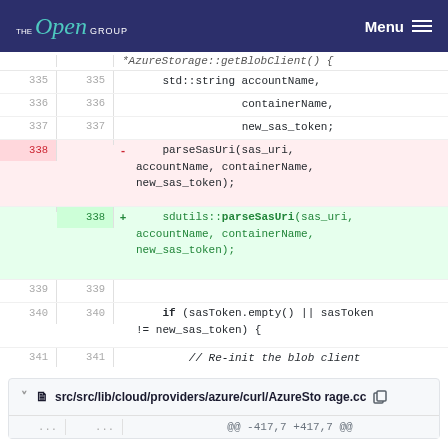THE Open GROUP    Menu
[Figure (screenshot): Code diff showing lines 335-341 of AzureStorage getBlobClient function, with line 338 removed (parseSasUri call) and replaced with sdutils::parseSasUri call (added)]
src/src/lib/cloud/providers/azure/curl/AzureStorage.cc
@@ -417,7 +417,7 @@